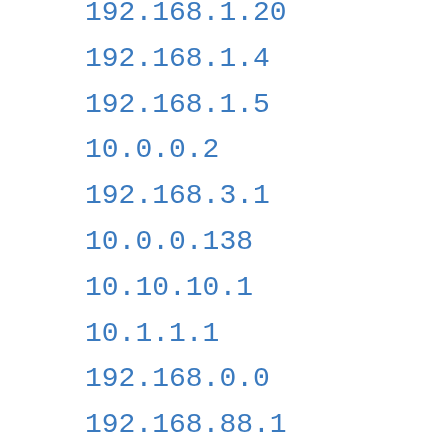192.168.1.20
192.168.1.4
192.168.1.5
10.0.0.2
192.168.3.1
10.0.0.138
10.10.10.1
10.1.1.1
192.168.0.0
192.168.88.1
192.168.10.253
192.168.1.11
192.168.31.1
192.168.16.1
198.162.1.1